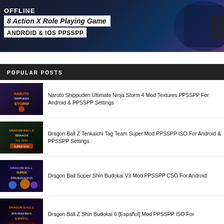[Figure (screenshot): Banner image showing mobile gaming content with text 'OFFLINE', '8 Action X Role Playing Game', 'ANDROID & IOS PPSSPP' over a dark action game background.]
POPULAR POSTS
[Figure (screenshot): Thumbnail for Naruto Shippuden Ultimate Ninja Storm 4 game]
Naruto Shippuden Ultimate Ninja Storm 4 Mod Textures PPSSPP For Android & PPSSPP Settings
[Figure (screenshot): Thumbnail for Dragon Ball Z Tenkaichi Tag Team Super Mod game]
Dragon Ball Z Tenkaichi Tag Team Super Mod PPSSPP ISO For Android & PPSSPP Settings
[Figure (screenshot): Thumbnail for Dragon Ball Super Shin Budokai V3 Mod game]
Dragon Ball Super Shin Budokai V3 Mod PPSSPP CSO For Android
[Figure (screenshot): Thumbnail for Dragon Ball Z Shin Budokai 6 Español Mod game]
Dragon Ball Z Shin Budokai 6 [Español] Mod PPSSPP ISO For